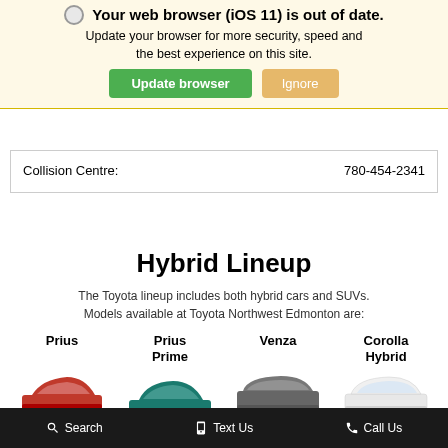[Figure (screenshot): Browser update warning banner with Update browser (green) and Ignore (tan) buttons, overlaid on a webpage showing Toyota Northwest Edmonton contact information and Hybrid Lineup section.]
Your web browser (iOS 11) is out of date. Update your browser for more security, speed and the best experience on this site.
Collision Centre: 780-454-2341
Hybrid Lineup
The Toyota lineup includes both hybrid cars and SUVs. Models available at Toyota Northwest Edmonton are:
Prius
Prius Prime
Venza
Corolla Hybrid
Search    Text Us    Call Us